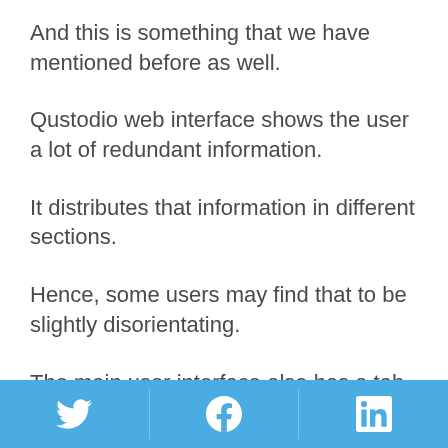And this is something that we have mentioned before as well.
Qustodio web interface shows the user a lot of redundant information.
It distributes that information in different sections.
Hence, some users may find that to be slightly disorientating.
The main user interface also has a tab in its rightmost corner.
Twitter | Facebook | LinkedIn